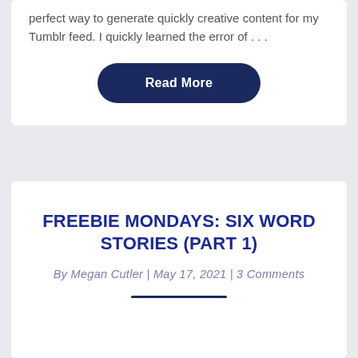perfect way to generate quickly creative content for my Tumblr feed. I quickly learned the error of . . .
Read More
FREEBIE MONDAYS: SIX WORD STORIES (PART 1)
By Megan Cutler | May 17, 2021 | 3 Comments